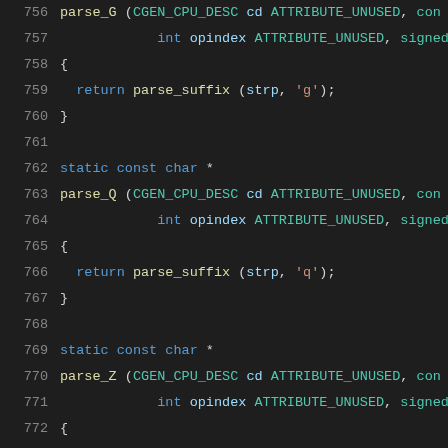[Figure (screenshot): Source code viewer showing C code lines 756-777. Functions parse_G, parse_Q, parse_Z with syntax highlighting. Dark background IDE/editor style. Line numbers in gray on left, keywords in blue, function names in yellow, macros in teal, char literals in orange, comments in green.]